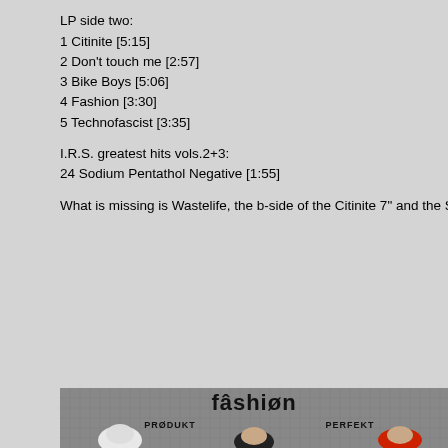LP side two:
1 Citinite [5:15]
2 Don't touch me [2:57]
3 Bike Boys [5:06]
4 Fashion [3:30]
5 Technofascist [3:35]
I.R.S. greatest hits vols.2+3:
24 Sodium Pentathol Negative [1:55]
What is missing is Wastelife, the b-side of the Citinite 7" and the Silver Blades single. A
[Figure (illustration): Album cover for 'fâshiøn Prødukt Perfekt' showing stylized illustration of three band members on a grey grid background. Band name 'fâshiøn' in large bold letters at top, with 'PRØDUKT' and 'PERFEKT' below. Three illustrated figures: one with white/grey hair, one with black hair, and one with red hair.]